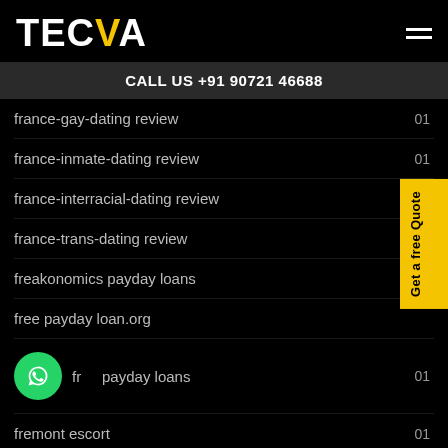TECVA
CALL US +91 90721 46688
france-gay-dating review  01
france-inmate-dating review  01
france-interracial-dating review
france-trans-dating review
freakonomics payday loans
free payday loan.org
free payday loans  01
fremont escort  01
fresno escort index  01